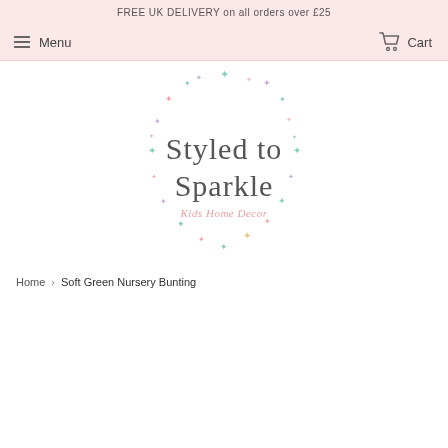FREE UK DELIVERY on all orders over £25
Menu   Cart
[Figure (logo): Styled to Sparkle Kids Home Decor logo with colorful sparkle stars arranged in a circle around the text]
Home > Soft Green Nursery Bunting